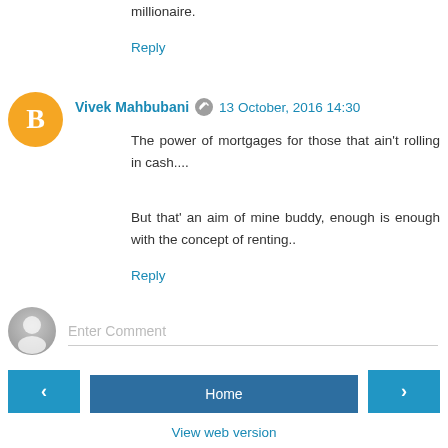millionaire.
Reply
Vivek Mahbubani  13 October, 2016 14:30
The power of mortgages for those that ain't rolling in cash....
But that' an aim of mine buddy, enough is enough with the concept of renting..
Reply
Enter Comment
Home
View web version